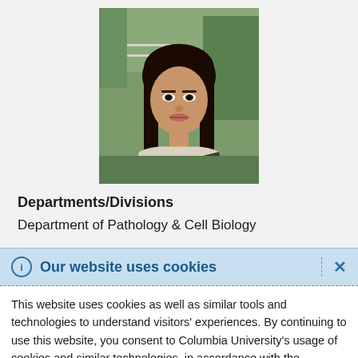[Figure (photo): Headshot photo of a young woman with long dark hair, wearing a light-colored top, against an outdoor background with greenery.]
Departments/Divisions
Department of Pathology & Cell Biology
Our website uses cookies
This website uses cookies as well as similar tools and technologies to understand visitors' experiences. By continuing to use this website, you consent to Columbia University's usage of cookies and similar technologies, in accordance with the Columbia University Website Cookie Notice.